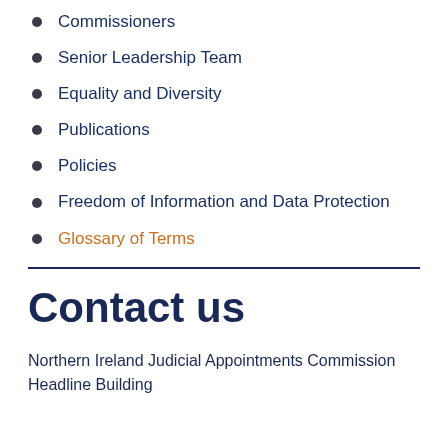Commissioners
Senior Leadership Team
Equality and Diversity
Publications
Policies
Freedom of Information and Data Protection
Glossary of Terms
Contact us
Northern Ireland Judicial Appointments Commission
Headline Building